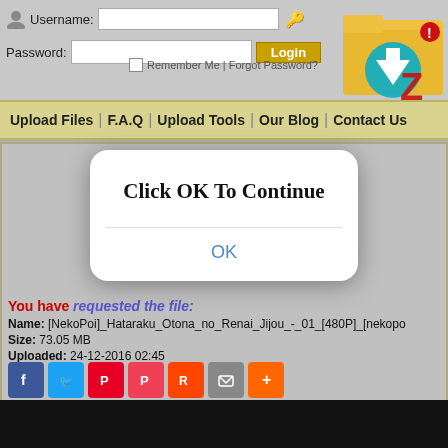[Figure (screenshot): Website login bar with username/password fields and login button]
Username:
Password:
Remember Me | Forgot Password?
[Figure (logo): Site logo - folder with zip arrow icon and red Z]
Upload Files | F.A.Q | Upload Tools | Our Blog | Contact Us
[Figure (screenshot): Modal dialog popup with 'Click OK To Continue' message and OK button]
You have requested the file:
Name: [NekoPoi]_Hataraku_Otona_no_Renai_Jijou_-_01_[480P]_[nekopo
Size: 73.05 MB
Uploaded: 24-12-2016 02:45
[Figure (infographic): Social share icons: Facebook, Twitter, Pinterest, Pocket, Reddit, Email, Plus]